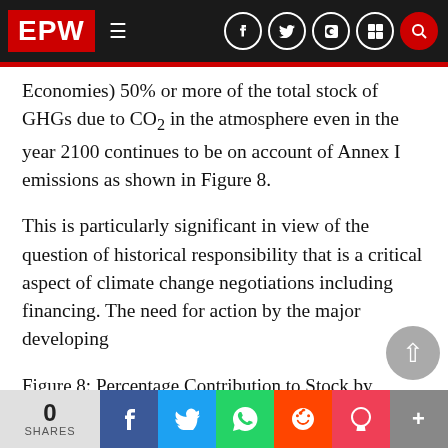EPW
Economies) 50% or more of the total stock of GHGs due to CO2 in the atmosphere even in the year 2100 continues to be on account of Annex I emissions as shown in Figure 8.
This is particularly significant in view of the question of historical responsibility that is a critical aspect of climate change negotiations including financing. The need for action by the major developing
Figure 8: Percentage Contribution to Stock by Annex 1 and the Rest of the World (Scenario-B: contribution to total CO stock in the atmosph...